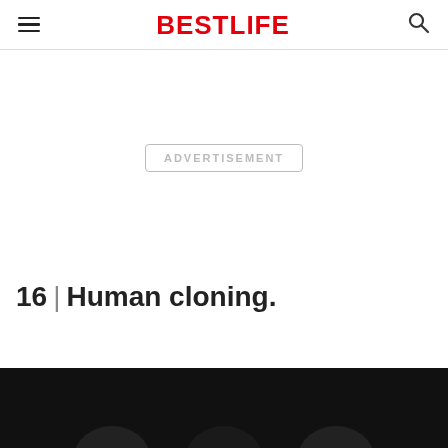BESTLIFE
[Figure (other): Advertisement placeholder area with 'ADVERTISEMENT' label in a rounded rectangle border]
16 | Human cloning.
[Figure (photo): Dark image at the bottom of the page, showing partial figures against a black background]